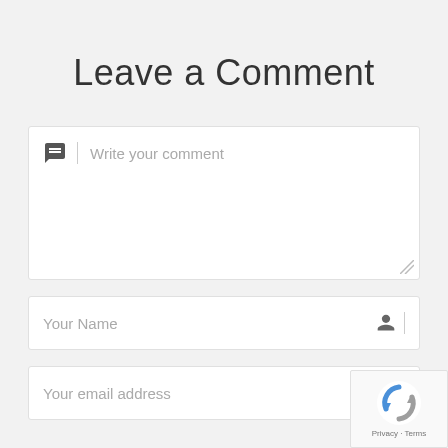Leave a Comment
[Figure (other): Comment text area with speech bubble icon and placeholder text 'Write your comment']
[Figure (other): Name input field with person icon and placeholder text 'Your Name']
[Figure (other): Email input field with envelope icon and placeholder text 'Your email address']
[Figure (other): reCAPTCHA badge widget in bottom right corner showing Privacy and Terms links]